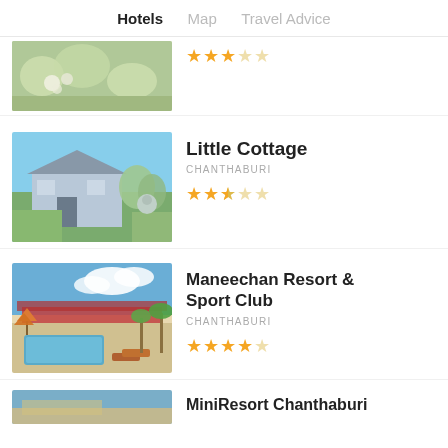Hotels  Map  Travel Advice
[Figure (photo): Partial hotel image visible at top — garden/outdoor scene with greenery]
[Figure (other): 3-star rating (2 filled, 1 half, 2 empty stars)]
[Figure (photo): Little Cottage hotel — blue/white cottage building with garden]
Little Cottage
CHANTHABURI
[Figure (other): 2.5-star rating (2 filled, 1 half, 2 empty stars)]
[Figure (photo): Maneechan Resort & Sport Club — pool with palm trees and resort buildings]
Maneechan Resort & Sport Club
CHANTHABURI
[Figure (other): 4-star rating (4 filled, 1 empty star)]
[Figure (photo): Partial hotel image at bottom — partially visible]